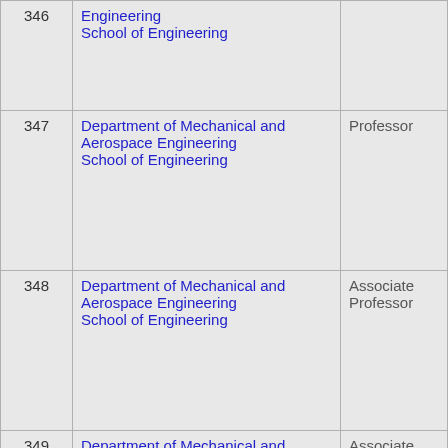| # | Department / School | Rank |
| --- | --- | --- |
| 346 | Engineering
School of Engineering |  |
| 347 | Department of Mechanical and Aerospace Engineering
School of Engineering | Professor |
| 348 | Department of Mechanical and Aerospace Engineering
School of Engineering | Associate Professor |
| 349 | Department of Mechanical and Aerospace Engineering
School of Engineering | Associate Professor |
| 350 | Department of Mechanical and Aerospace Engineering
School of Engineering | Associate Professor |
|  | Department of Mechanical and Aerospace | Assistant |